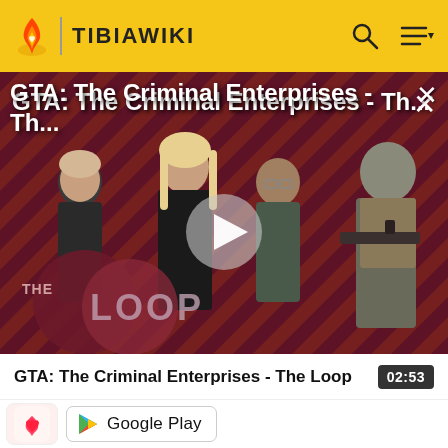TIBIAWIKI
[Figure (screenshot): GTA: The Criminal Enterprises - The Loop video thumbnail showing four game characters on a red diagonal striped background with The Loop logo, and a play button overlay]
GTA: The Criminal Enterprises - Th...
GTA: The Criminal Enterprises - The Loop
02:53
[Figure (logo): App icon and Google Play button]
Google Play